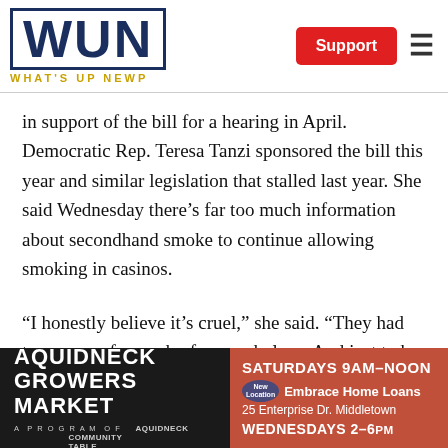WUN — WHAT'S UP NEWP
in support of the bill for a hearing in April. Democratic Rep. Teresa Tanzi sponsored the bill this year and similar legislation that stalled last year. She said Wednesday there’s far too much information about secondhand smoke to continue allowing smoking in casinos.
“I honestly believe it’s cruel,” she said. “They had two years of a smoke-free workplace. And just to be throw
[Figure (advertisement): Aquidneck Growers Market advertisement, dark background, left side. Text: AQUIDNECK GROWERS MARKET, A PROGRAM OF AQUIDNECK COMMUNITY TABLE]
[Figure (advertisement): Aquidneck Growers Market hours, terracotta background, right side. SATURDAYS 9AM-NOON, New Location badge, Embrace Home Loans, 25 Enterprise Dr. Middletown, WEDNESDAYS 2-6PM]